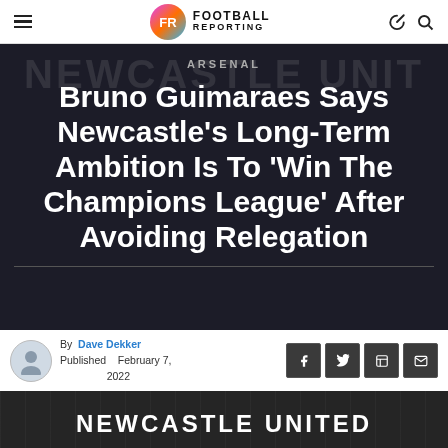Football Reporting
ARSENAL
Bruno Guimaraes Says Newcastle's Long-Term Ambition Is To 'Win The Champions League' After Avoiding Relegation
By Dave Dekker
Published February 7, 2022
[Figure (photo): Newcastle United sign/banner photo at bottom of page]